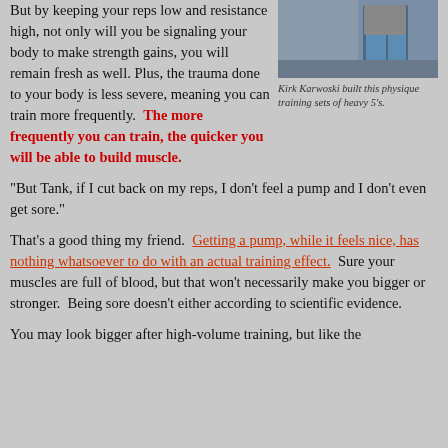But by keeping your reps low and resistance high, not only will you be signaling your body to make strength gains, you will remain fresh as well. Plus, the trauma done to your body is less severe, meaning you can train more frequently.  The more frequently you can train, the quicker you will be able to build muscle.
[Figure (photo): Photo of Kirk Karwoski showing his lower body in blue pants]
Kirk Karwoski built this physique training sets of heavy 5's.
“But Tank, if I cut back on my reps, I don’t feel a pump and I don’t even get sore.”
That’s a good thing my friend.  Getting a pump, while it feels nice, has nothing whatsoever to do with an actual training effect.  Sure your muscles are full of blood, but that won’t necessarily make you bigger or stronger.  Being sore doesn’t either according to scientific evidence.
You may look bigger after high-volume training, but like the